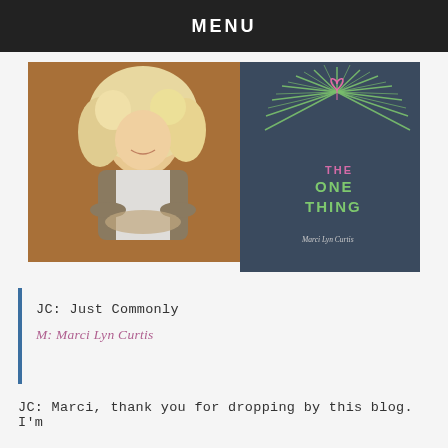MENU
[Figure (photo): Portrait photo of a smiling blonde woman with curly hair, wearing a white shirt and brown cardigan, seated with arms crossed on a dark red surface]
[Figure (illustration): Book cover of 'The One Thing' by Marci Lyn Curtis. Dark blue-gray background with green radiating lines and a pink heart balloon at the top. Text reads THE (pink), ONE THING (green), Marci Lyn Curtis (cursive, light).]
JC: Just Commonly
M:  Marci Lyn Curtis
JC: Marci, thank you for dropping by this blog. I'm